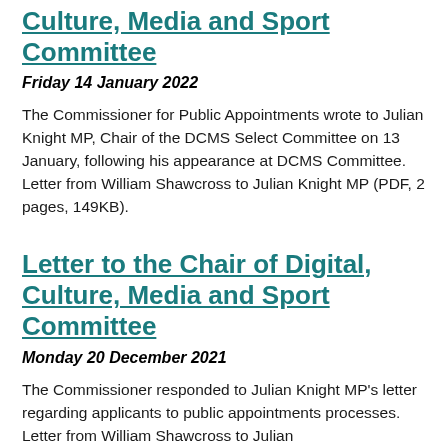Culture, Media and Sport Committee
Friday 14 January 2022
The Commissioner for Public Appointments wrote to Julian Knight MP, Chair of the DCMS Select Committee on 13 January, following his appearance at DCMS Committee. Letter from William Shawcross to Julian Knight MP (PDF, 2 pages, 149KB).
Letter to the Chair of Digital, Culture, Media and Sport Committee
Monday 20 December 2021
The Commissioner responded to Julian Knight MP's letter regarding applicants to public appointments processes. Letter from William Shawcross to Julian